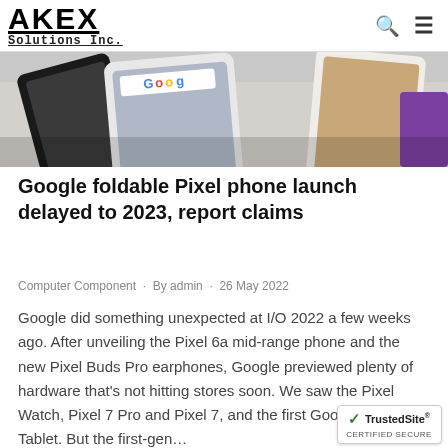AKEX Solutions Inc.
[Figure (photo): Hero image showing multiple smartphones laid flat on a surface, displaying various screens including Google search and photo galleries.]
Google foldable Pixel phone launch delayed to 2023, report claims
Computer Component · By admin · 26 May 2022
Google did something unexpected at I/O 2022 a few weeks ago. After unveiling the Pixel 6a mid-range phone and the new Pixel Buds Pro earphones, Google previewed plenty of hardware that's not hitting stores soon. We saw the Pixel Watch, Pixel 7 Pro and Pixel 7, and the first Google Pixel Tablet. But the first-gen…